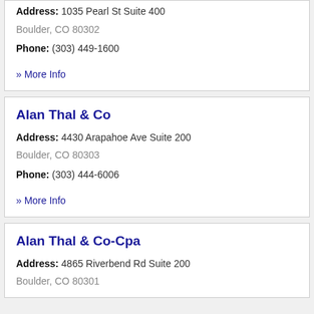Address: 1035 Pearl St Suite 400 Boulder, CO 80302
Phone: (303) 449-1600
» More Info
Alan Thal & Co
Address: 4430 Arapahoe Ave Suite 200 Boulder, CO 80303
Phone: (303) 444-6006
» More Info
Alan Thal & Co-Cpa
Address: 4865 Riverbend Rd Suite 200 Boulder, CO 80301